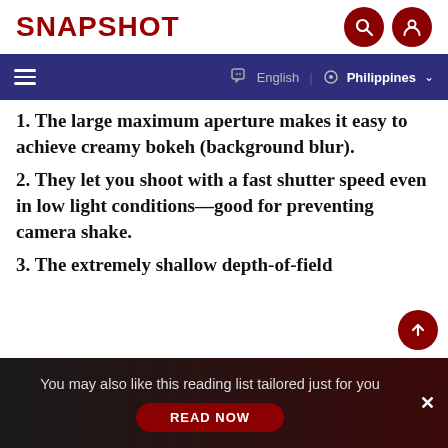SNAPSHOT
English  Philippines
1. The large maximum aperture makes it easy to achieve creamy bokeh (background blur).
2. They let you shoot with a fast shutter speed even in low light conditions—good for preventing camera shake.
3. The extremely shallow depth-of-field
You may also like this reading list tailored just for you
READ NOW